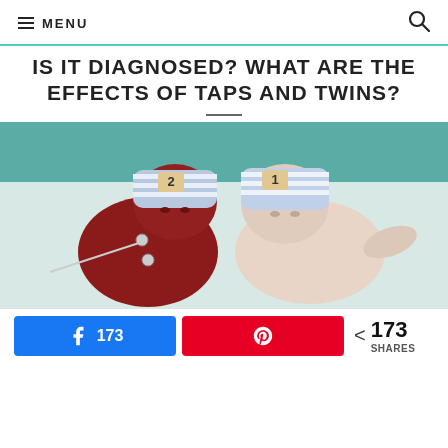MENU
IS IT DIAGNOSED? WHAT ARE THE EFFECTS OF TAPS AND TWINS?
[Figure (photo): Two newborn twin babies lying side by side on a hospital surface. The baby on the left appears much darker/redder in skin color (polycythemia) while the baby on the right appears much paler (anemia), illustrating the effects of Twin Anemia-Polycythemia Sequence (TAPS). Both babies wear striped hospital hats with number labels.]
173  173 SHARES